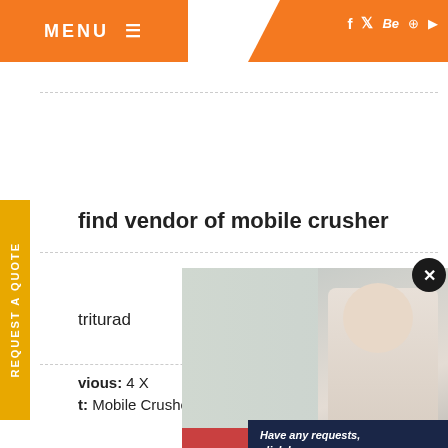MENU ☰
[Figure (screenshot): Website navigation header with orange menu button on left and social media icons on right]
find vendor of mobile crusher
triturad
[Figure (screenshot): Live chat popup with construction workers image, LIVE CHAT heading in red, Click for a Free Consultation, Chat now and Chat later buttons]
vious: 4 X
t: Mobile Crusher For Bau Ite In Maharash
[Figure (screenshot): Right sidebar widget with Have any requests click here text, Quote button, Enquiry section, and drobilkalm text on dark navy background]